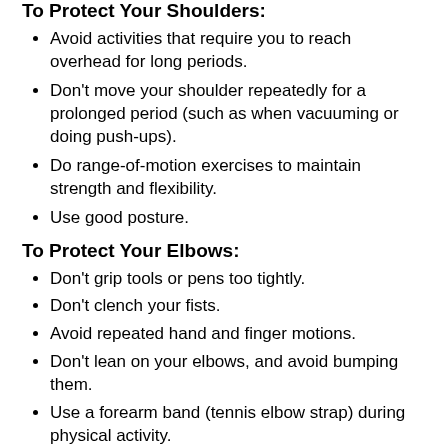To Protect Your Shoulders:
Avoid activities that require you to reach overhead for long periods.
Don't move your shoulder repeatedly for a prolonged period (such as when vacuuming or doing push-ups).
Do range-of-motion exercises to maintain strength and flexibility.
Use good posture.
To Protect Your Elbows:
Don't grip tools or pens too tightly.
Don't clench your fists.
Avoid repeated hand and finger motions.
Don't lean on your elbows, and avoid bumping them.
Use a forearm band (tennis elbow strap) during physical activity.
To Protect Your Wrists and Hands: